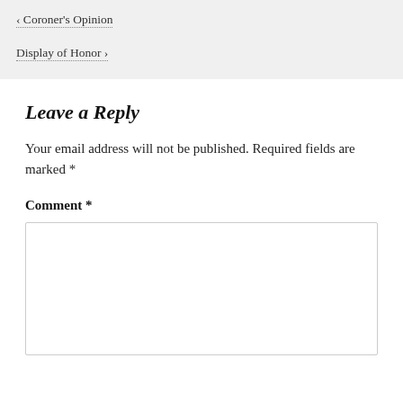< Coroner's Opinion
Display of Honor >
Leave a Reply
Your email address will not be published. Required fields are marked *
Comment *